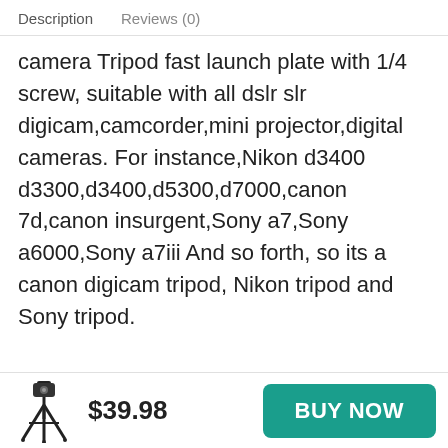Description   Reviews (0)
camera Tripod fast launch plate with 1/4 screw, suitable with all dslr slr digicam,camcorder,mini projector,digital cameras. For instance,Nikon d3400 d3300,d3400,d5300,d7000,canon 7d,canon insurgent,Sony a7,Sony a6000,Sony a7iii And so forth, so its a canon digicam tripod, Nikon tripod and Sony tripod.
❶Light-weight Compact And Three Angle Positions❷:The burden of the light-weight tripod for digicam is just 2.1 lbs(0.94kg). The peak is adjustable from 405mm(15.9in) to 1240mm(49in), excellent for enterprise journey, out of doors adventures, indoor
$39.98
BUY NOW